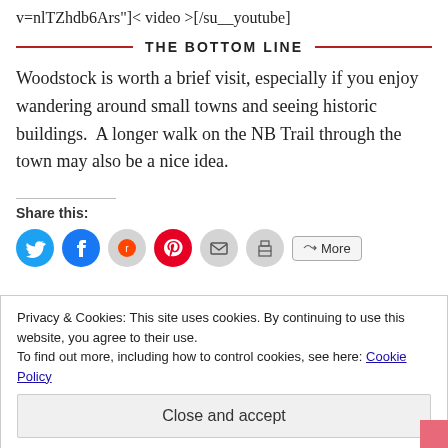v=nlTZhdb6Ars"]< video >[/su__youtube]
THE BOTTOM LINE
Woodstock is worth a brief visit, especially if you enjoy wandering around small towns and seeing historic buildings.  A longer walk on the NB Trail through the town may also be a nice idea.
Share this:
Privacy & Cookies: This site uses cookies. By continuing to use this website, you agree to their use.
To find out more, including how to control cookies, see here: Cookie Policy
Close and accept